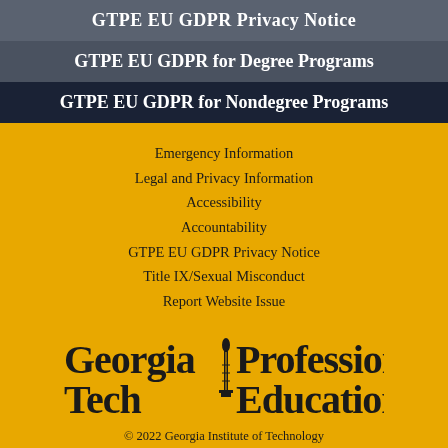GTPE EU GDPR Privacy Notice
GTPE EU GDPR for Degree Programs
GTPE EU GDPR for Nondegree Programs
Emergency Information
Legal and Privacy Information
Accessibility
Accountability
GTPE EU GDPR Privacy Notice
Title IX/Sexual Misconduct
Report Website Issue
[Figure (logo): Georgia Tech Professional Education logo with stylized torch emblem between the two text blocks]
© 2022 Georgia Institute of Technology